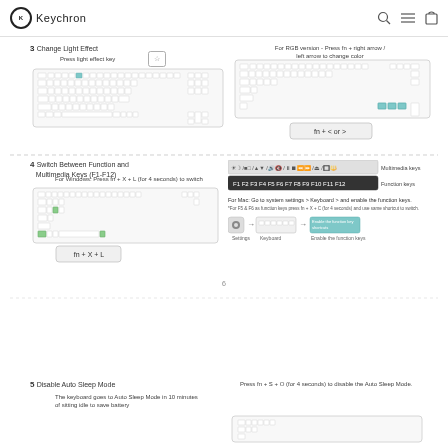Keychron
3  Change Light Effect
Press light effect key
[Figure (illustration): Keyboard diagram showing light effect key highlighted in blue]
For RGB version - Press fn + right arrow / left arrow to change color
[Figure (illustration): Keyboard diagram for RGB with fn + < or > keys highlighted, showing fn + < or > shortcut box]
4  Switch Between Function and Multimedia Keys (F1-F12)
For Windows: Press fn + X + L (for 4 seconds) to switch
[Figure (illustration): Keyboard diagram with green keys highlighted and fn + X + L shortcut box]
[Figure (illustration): Multimedia keys row and Function keys row diagram with labels, plus Mac settings steps showing Settings > Keyboard > Enable the function keys]
For Mac: Go to system settings > Keyboard > and enable the function keys.
*For F5 & F6 as function keys press fn + X + C (for 4 seconds) and use same shortcut to switch.
6
5  Disable Auto Sleep Mode
The keyboard goes to Auto Sleep Mode in 10 minutes of sitting idle to save battery
Press fn + S + O (for 4 seconds) to disable the Auto Sleep Mode.